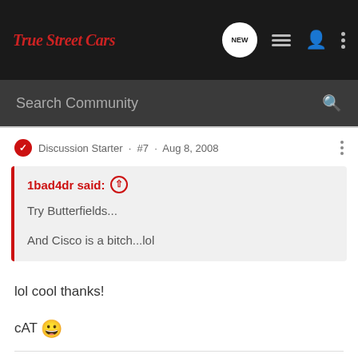True Street Cars
Search Community
Discussion Starter · #7 · Aug 8, 2008
1bad4dr said: ↑
Try Butterfields...

And Cisco is a bitch...lol
lol cool thanks!

cAT 🙂